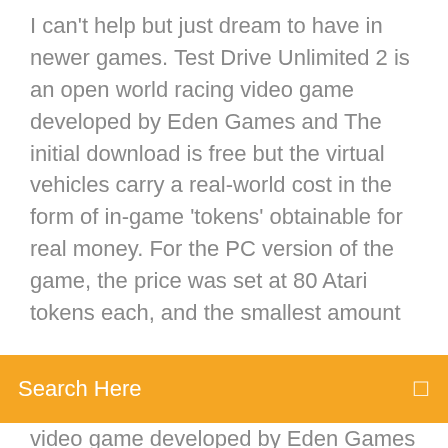I can't help but just dream to have in newer games. Test Drive Unlimited 2 is an open world racing video game developed by Eden Games and The initial download is free but the virtual vehicles carry a real-world cost in the form of in-game 'tokens' obtainable for real money. For the PC version of the game, the price was set at 80 Atari tokens each, and the smallest amount
[Figure (other): Orange search bar with text 'Search Here' and a search icon on the right]
video game developed by Eden Games published by Atari for Xbox 360 and Microsoft Windows. In the past racing games have focused only on the actual race and upgrading or buying new cars. Now Test Drive Unlimited doesn't deviate from that formula but  Test Drive Unlimited 2 © Atari, Inc. All Rights Reserved. Atari and the Atari logo are trademarks owned by Atari Interactive, Inc. Published by Atari, Inc. Atari today announced that the Test Drive Unlimited PC Megapack is available for download, including the patch, activation key and 46 immaculate dream. 17 Jul 2007 version: v.1.66 US/Download.